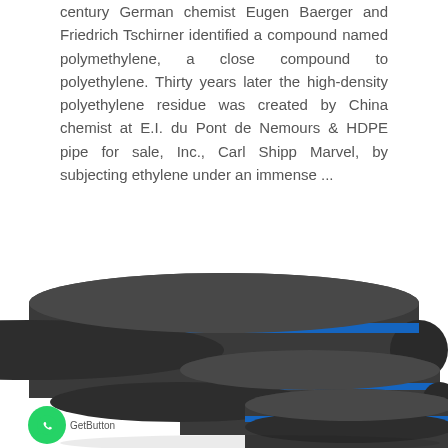century German chemist Eugen Baerger and Friedrich Tschirner identified a compound named polymethylene, a close compound to polyethylene. Thirty years later the high-density polyethylene residue was created by China chemist at E.I. du Pont de Nemours & HDPE pipe for sale, Inc., Carl Shipp Marvel, by subjecting ethylene under an immense ...
[Figure (photo): Three large black HDPE pipes with blue stripe, arranged in a stacked/angled group on a white background. The pipes are of varying sizes with the largest in the back.]
GetButton